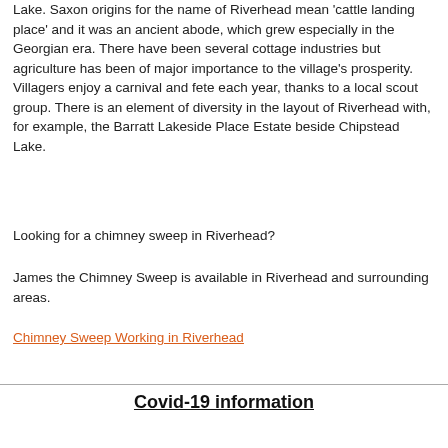Lake. Saxon origins for the name of Riverhead mean 'cattle landing place' and it was an ancient abode, which grew especially in the Georgian era. There have been several cottage industries but agriculture has been of major importance to the village's prosperity. Villagers enjoy a carnival and fete each year, thanks to a local scout group. There is an element of diversity in the layout of Riverhead with, for example, the Barratt Lakeside Place Estate beside Chipstead Lake.
Looking for a chimney sweep in Riverhead?
James the Chimney Sweep is available in Riverhead and surrounding areas.
Chimney Sweep Working in Riverhead
Covid-19 information